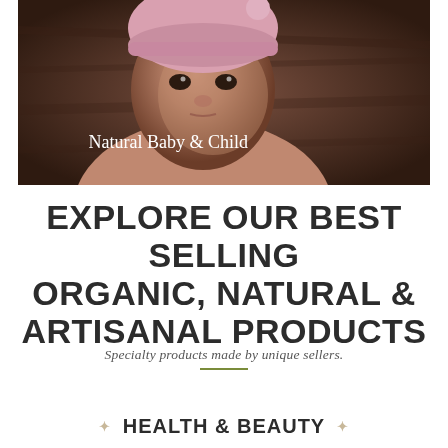[Figure (photo): Close-up photo of a baby with a pink knit hat against a dark wooden background, with overlay text 'Natural Baby & Child']
EXPLORE OUR BEST SELLING ORGANIC, NATURAL & ARTISANAL PRODUCTS
Specialty products made by unique sellers.
HEALTH & BEAUTY